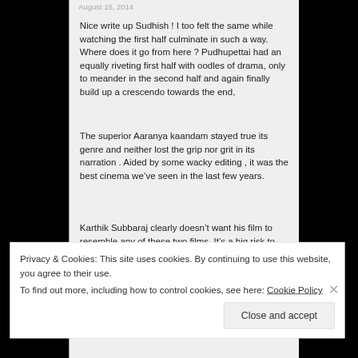August 15, 2014
Nice write up Sudhish ! I too felt the same while watching the first half culminate in such a way. Where does it go from here ? Pudhupettai had an equally riveting first half with oodles of drama, only to meander in the second half and again finally build up a crescendo towards the end,
The superior Aaranya kaandam stayed true its genre and neither lost the grip nor grit in its narration . Aided by some wacky editing , it was the best cinema we’ve seen in the last few years.
Karthik Subbaraj clearly doesn’t want his film to resemble any of these two films. It’s a big risk to switch genres halfway, to squash the brilliant pieces of the second...
Privacy & Cookies: This site uses cookies. By continuing to use this website, you agree to their use.
To find out more, including how to control cookies, see here: Cookie Policy